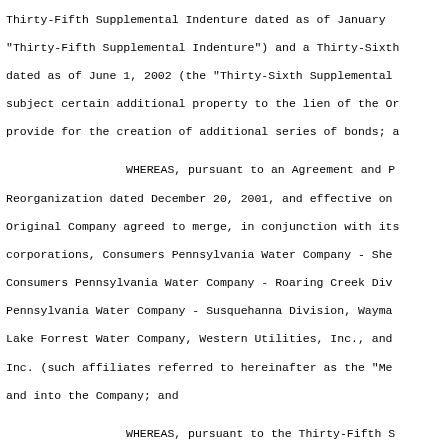Thirty-Fifth Supplemental Indenture dated as of January 1, "Thirty-Fifth Supplemental Indenture") and a Thirty-Sixth dated as of June 1, 2002 (the "Thirty-Sixth Supplemental subject certain additional property to the lien of the Or provide for the creation of additional series of bonds; a
WHEREAS, pursuant to an Agreement and P Reorganization dated December 20, 2001, and effective on Original Company agreed to merge, in conjunction with its corporations, Consumers Pennsylvania Water Company - She Consumers Pennsylvania Water Company - Roaring Creek Div Pennsylvania Water Company - Susquehanna Division, Wayma Lake Forrest Water Company, Western Utilities, Inc., and Inc. (such affiliates referred to hereinafter as the "Me and into the Company; and
WHEREAS, pursuant to the Thirty-Fifth S the Company agreed to assume the obligations of the Ori Original Indenture and all supplements thereto; and
WHEREAS, the Original Company has issu Indenture, as supplemented at the respective dates of iss First Mortgage Bonds designated, respectively, as set fo table, the Original or Supplemental Indenture creating ea principal amount of bonds thereof issued being indicated designation of such series: